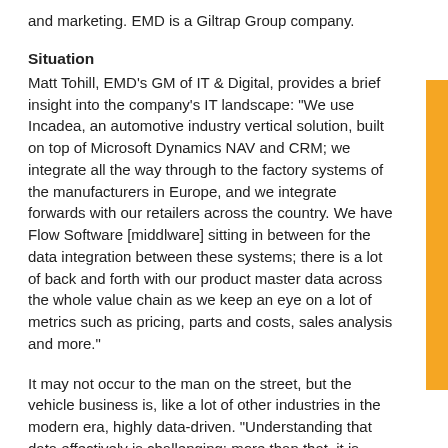and marketing. EMD is a Giltrap Group company.
Situation
Matt Tohill, EMD's GM of IT & Digital, provides a brief insight into the company's IT landscape: "We use Incadea, an automotive industry vertical solution, built on top of Microsoft Dynamics NAV and CRM; we integrate all the way through to the factory systems of the manufacturers in Europe, and we integrate forwards with our retailers across the country. We have Flow Software [middlware] sitting in between for the data integration between these systems; there is a lot of back and forth with our product master data across the whole value chain as we keep an eye on a lot of metrics such as pricing, parts and costs, sales analysis and more."
It may not occur to the man on the street, but the vehicle business is, like a lot of other industries in the modern era, highly data-driven. "Understanding that data effectively is challenging; more than that, it is important that we